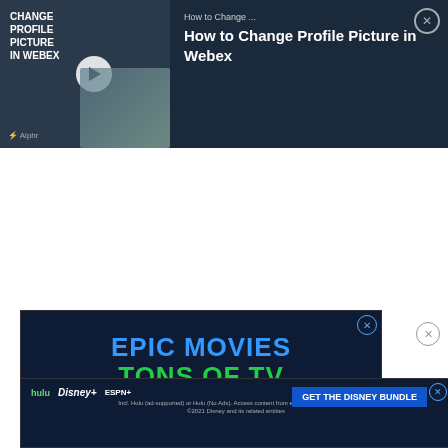[Figure (screenshot): Video thumbnail card showing 'How to Change Profile Picture in Webex' with dark blue background, play button, and Alphr branding]
[Figure (screenshot): Disney Bundle advertisement with dark navy background showing 'EPIC MOVIES TONS OF TV LIVE SPORTS' in blue, green, and orange text, with Hulu, Disney+, ESPN+ logos and a 'GET THE DISNEY BUNDLE' button]
[Figure (screenshot): Bottom banner advertisement for Disney Bundle with Hulu, Disney+, ESPN+ logos and GET THE DISNEY BUNDLE button]